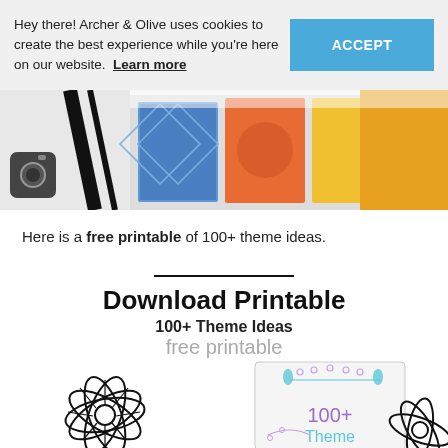Hey there! Archer & Olive uses cookies to create the best experience while you're here on our website. Learn more
[Figure (screenshot): Hero image showing colorful notebooks and planners on a white surface]
Here is a free printable of 100+ theme ideas.
[Figure (illustration): Download Printable 100+ Theme Ideas free printable card with floral decorations and '100+ Theme' text, flanked by large black line-art flowers]